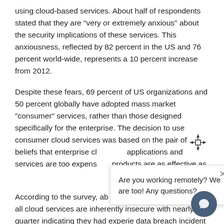using cloud-based services. About half of respondents stated that they are “very or extremely anxious” about the security implications of these services. This anxiousness, reflected by 82 percent in the US and 76 percent world-wide, represents a 10 percent increase from 2012.
Despite these fears, 69 percent of US organizations and 50 percent globally have adopted mass market “consumer” services, rather than those designed specifically for the enterprise. The decision to use consumer cloud services was based on the pair of beliefs that enterprise cl… applications and services are too expens… products are as effective as…
According to the survey, ab… are united in the belief that all cloud services are inherently insecure with nearly a quarter indicating they had experie… data breach incident where their cloud service provider w… party at fault.
[Figure (screenshot): A popup dialog box with an X close button and the text 'Are you working remotely? We are too! Any questions?', along with a chat icon button in the bottom right corner and a move cursor icon overlaid on the document text.]